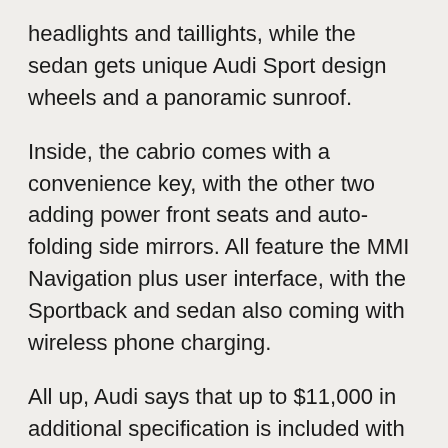headlights and taillights, while the sedan gets unique Audi Sport design wheels and a panoramic sunroof.
Inside, the cabrio comes with a convenience key, with the other two adding power front seats and auto-folding side mirrors. All feature the MMI Navigation plus user interface, with the Sportback and sedan also coming with wireless phone charging.
All up, Audi says that up to $11,000 in additional specification is included with the S Line Plus package on some models. For the buyer, it means increased value. The package could also help with resale value further down the track. Shawn Ticehurst, product planning and pricing director at Audi Australia, said: